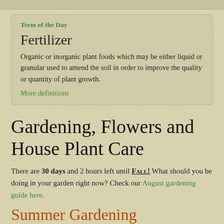Term of the Day
Fertilizer
Organic or inorganic plant foods which may be either liquid or granular used to amend the soil in order to improve the quality or quantity of plant growth.
More definitions
Gardening, Flowers and House Plant Care
There are 30 days and 2 hours left until Fall! What should you be doing in your garden right now? Check our August gardening guide here.
Summer Gardening